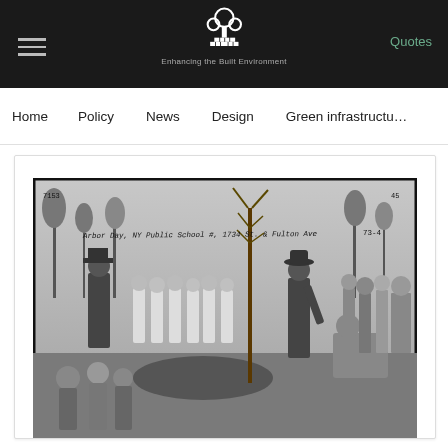Enhancing the Built Environment — Quotes
Home   Policy   News   Design   Green infrastructure
[Figure (photo): Black and white historical photograph of an Arbor Day tree planting ceremony at NY Public School, 1734 St. & Fulton Ave. A man in a bowler hat holds a young sapling while children and adults watch. Handwritten caption on photo reads: 'Arbor Day, NY Public School #, 1734 St. & Fulton Ave  73-4']